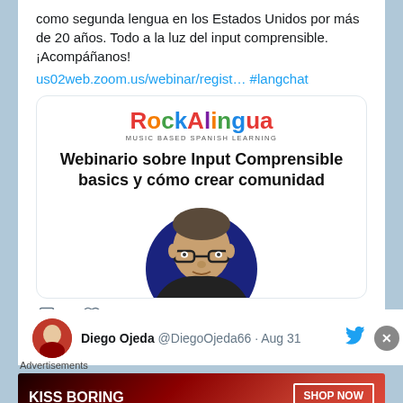como segunda lengua en los Estados Unidos por más de 20 años.  Todo a la luz del input comprensible.  ¡Acompáñanos!
us02web.zoom.us/webinar/regist… #langchat
[Figure (screenshot): RockAlingua webinar promotional image with logo and heading 'Webinario sobre Input Comprensible basics y cómo crear comunidad' with circular photo of a man]
8
Diego Ojeda @DiegoOjeda66 · Aug 31
Advertisements
[Figure (photo): Macy's advertisement banner: KISS BORING LIPS GOODBYE with SHOP NOW button and Macy's logo]